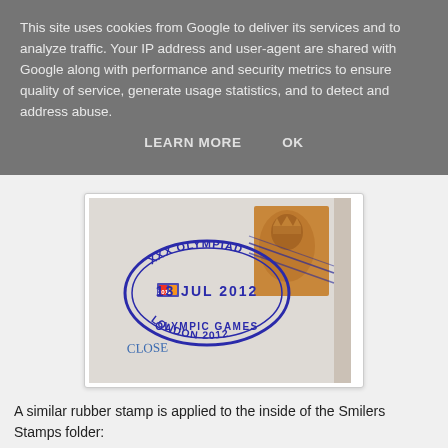This site uses cookies from Google to deliver its services and to analyze traffic. Your IP address and user-agent are shared with Google along with performance and security metrics to ensure quality of service, generate usage statistics, and to detect and address abuse.
LEARN MORE    OK
[Figure (photo): An envelope with a blue oval rubber stamp reading 'XXX OLYMPIAD 13 JUL 2012 LONDON 2012 OLYMPIC GAMES' with a London 2012 Olympics logo, alongside a golden/brown Royal Mail postage stamp featuring Queen Elizabeth II. The word 'CLOSE' is handwritten in blue pen on the envelope.]
A similar rubber stamp is applied to the inside of the Smilers Stamps folder: